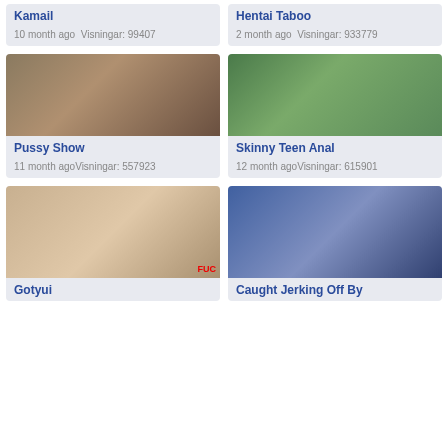[Figure (screenshot): Video thumbnail grid showing adult video website listings]
Kamail
10 month ago  Visningar: 99407
Hentai Taboo
2 month ago  Visningar: 933779
[Figure (photo): Two people at desk with laptop]
Pussy Show
11 month agoVisningar: 557923
[Figure (photo): Person walking on street from behind]
Skinny Teen Anal
12 month agoVisningar: 615901
[Figure (photo): Two people on bed]
Gotyui
[Figure (photo): Person at desk in blue-tinted room]
Caught Jerking Off By